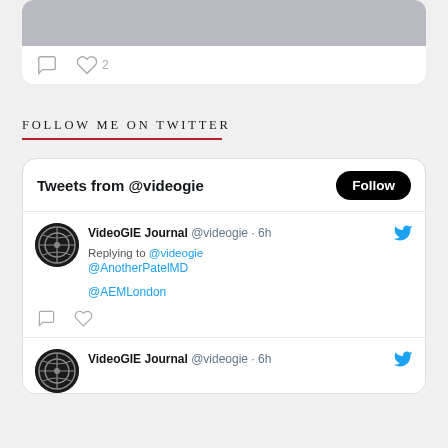[Figure (screenshot): Top of a social media card showing a cropped profile photo (person in gray shirt) and engagement icons (comment, heart with count 2) at the bottom]
FOLLOW ME ON TWITTER
[Figure (screenshot): Twitter widget showing 'Tweets from @videogie' with a Follow button, and a tweet from VideoGIE Journal @videogie 6h ago replying to @videogie @AnotherPatelMD @AEMLondon, with comment and heart icons]
[Figure (screenshot): Partial bottom tweet row showing VideoGIE Journal @videogie 6h with avatar and bird icon, cut off at bottom of page]